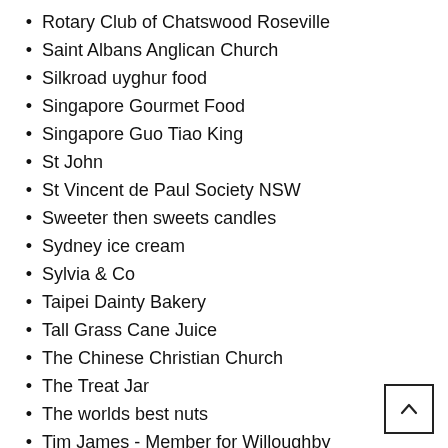Rotary Club of Chatswood Roseville
Saint Albans Anglican Church
Silkroad uyghur food
Singapore Gourmet Food
Singapore Guo Tiao King
St John
St Vincent de Paul Society NSW
Sweeter then sweets candles
Sydney ice cream
Sylvia & Co
Taipei Dainty Bakery
Tall Grass Cane Juice
The Chinese Christian Church
The Treat Jar
The worlds best nuts
Tim James - Member for Willoughby
Tracy Yap Realty Pty Ltd